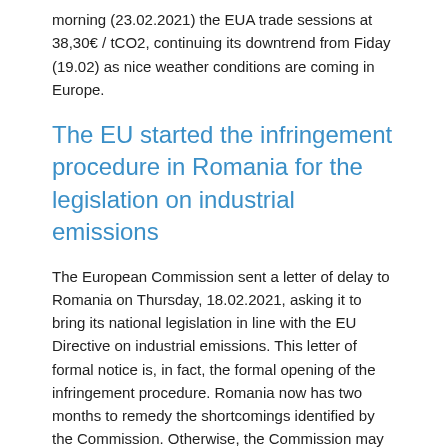morning (23.02.2021) the EUA trade sessions at 38,30€ / tCO2, continuing its downtrend from Fiday (19.02) as nice weather conditions are coming in Europe.
The EU started the infringement procedure in Romania for the legislation on industrial emissions
The European Commission sent a letter of delay to Romania on Thursday, 18.02.2021, asking it to bring its national legislation in line with the EU Directive on industrial emissions. This letter of formal notice is, in fact, the formal opening of the infringement procedure. Romania now has two months to remedy the shortcomings identified by the Commission. Otherwise, the Commission may decide to send them a motivated warning.
“The Romanian legal system does not guarantee the implementation of key objectives of the Directive, especially that the installations can operate only if they have authorization. On the one hand, in the current form, the Romanian legal system provides very small and inadequate penalties, which do not prove the efficiency, the proportionality and the deterrence required by the